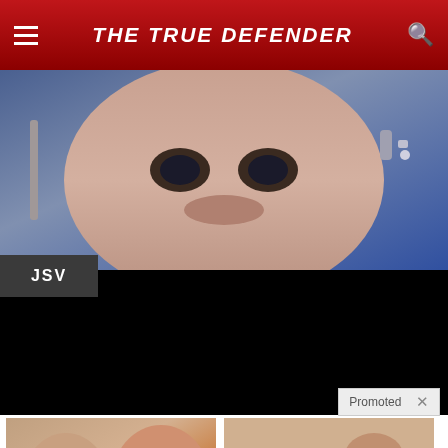THE TRUE DEFENDER
[Figure (photo): Close-up photo of a humanoid robot face with realistic skin texture and mechanical parts visible]
JSV
[Figure (screenshot): Black advertisement area with Promoted label and X close button]
[Figure (photo): Thumbnail image of Melania and Donald Trump with video play button overlay]
Democrats Want This Video Destroyed — Watch Now Before It's Banned
182,698
[Figure (illustration): Animated cartoon thumbnail showing a wrestling or fighting scene with video play button overlay]
How To Reduce Enlarged Prostates Without Surgery Do This Daily
625